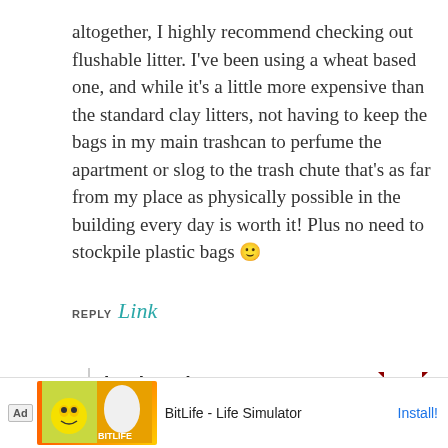altogether, I highly recommend checking out flushable litter. I've been using a wheat based one, and while it's a little more expensive than the standard clay litters, not having to keep the bags in my main trashcan to perfume the apartment or slog to the trash chute that's as far from my place as physically possible in the building every day is worth it! Plus no need to stockpile plastic bags 🙂
REPLY Link
booknerd
Wait, you mean picking up Fluffy's poop and putting it in a plastic bag and knotting it and the...isn...
Ad BitLife - Life Simulator Install!